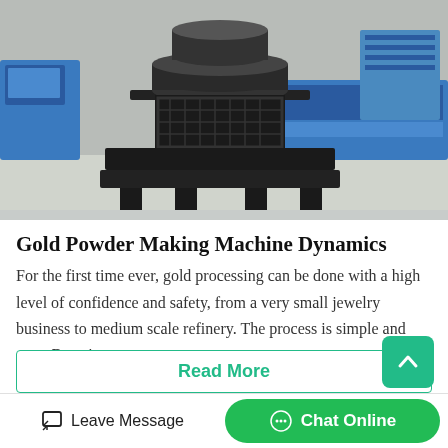[Figure (photo): Industrial crusher/mill machine (large black vertical shaft impactor) inside a factory with blue machinery in background, concrete floor, industrial setting.]
Gold Powder Making Machine Dynamics
For the first time ever, gold processing can be done with a high level of confidence and safety, from a very small jewelry business to medium scale refinery. The process is simple and easy. By using
Read More
Leave Message
Chat Online